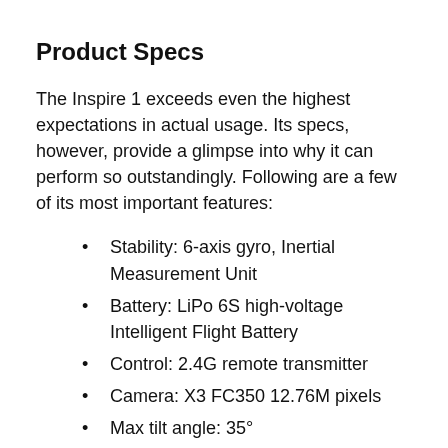Product Specs
The Inspire 1 exceeds even the highest expectations in actual usage. Its specs, however, provide a glimpse into why it can perform so outstandingly. Following are a few of its most important features:
Stability: 6-axis gyro, Inertial Measurement Unit
Battery: LiPo 6S high-voltage Intelligent Flight Battery
Control: 2.4G remote transmitter
Camera: X3 FC350 12.76M pixels
Max tilt angle: 35°
Max flight altitude: 4,500 meters
Flight time: About 18 min